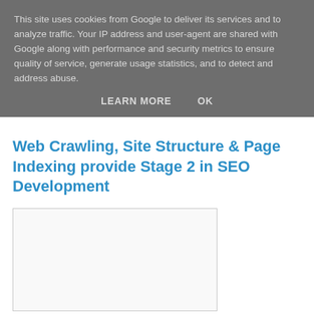This site uses cookies from Google to deliver its services and to analyze traffic. Your IP address and user-agent are shared with Google along with performance and security metrics to ensure quality of service, generate usage statistics, and to detect and address abuse.
LEARN MORE    OK
Web Crawling, Site Structure & Page Indexing provide Stage 2 in SEO Development
[Figure (other): Empty white rectangular image placeholder with light border]
The previous article within this collection focused upon the importance of laying the correct foundations for a successful